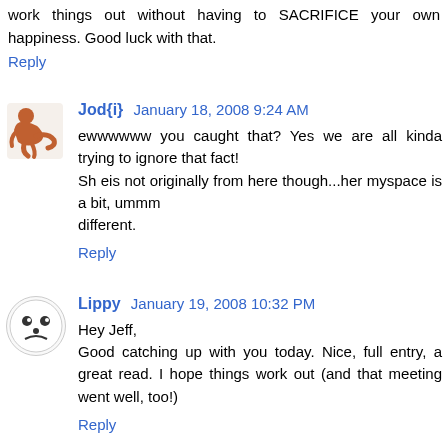work things out without having to SACRIFICE your own happiness. Good luck with that.
Reply
Jod{i} January 18, 2008 9:24 AM
ewwwwww you caught that? Yes we are all kinda trying to ignore that fact!
Sh eis not originally from here though...her myspace is a bit, ummm
different.
Reply
Lippy January 19, 2008 10:32 PM
Hey Jeff,
Good catching up with you today. Nice, full entry, a great read. I hope things work out (and that meeting went well, too!)
Reply